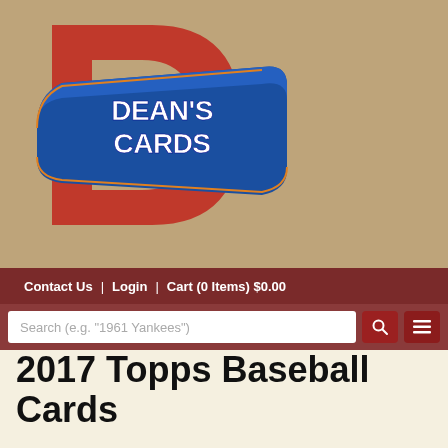[Figure (logo): Dean's Cards logo — large red letter D with blue banner reading DEAN'S CARDS in white text, on a tan/brown background with faded baseball card imagery]
Contact Us  |  Login  |  Cart (0 Items) $0.00
Search (e.g. "1961 Yankees")
2017 Topps Baseball Cards
[Figure (photo): 2017 Topps Baseball Cards product image showing baseball players in action with overlay text '2017 Topps Baseball Cards']
The 2017 Topps Baseball Card Set consists of 700 standard-sized cards.  The #350 card of David Ortiz has multiple variations. Some of the top rookie cards in the 2017 Topps Baseball Card Set include Aaron Judge, Andrew Benintendi, Yuri Gurriel, Mitch Haniger, Andrew Toles,